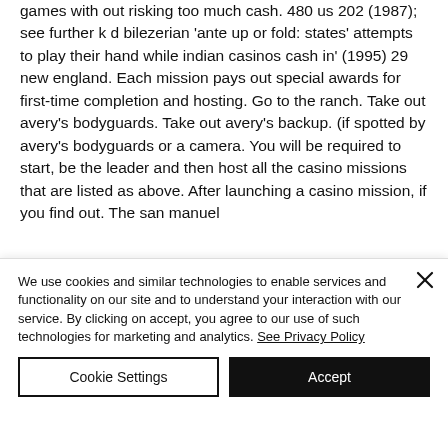games with out risking too much cash. 480 us 202 (1987); see further k d bilezerian 'ante up or fold: states' attempts to play their hand while indian casinos cash in' (1995) 29 new england. Each mission pays out special awards for first-time completion and hosting. Go to the ranch. Take out avery's bodyguards. Take out avery's backup. (if spotted by avery's bodyguards or a camera. You will be required to start, be the leader and then host all the casino missions that are listed as above. After launching a casino mission, if you find out. The san manuel
We use cookies and similar technologies to enable services and functionality on our site and to understand your interaction with our service. By clicking on accept, you agree to our use of such technologies for marketing and analytics. See Privacy Policy
Cookie Settings
Accept